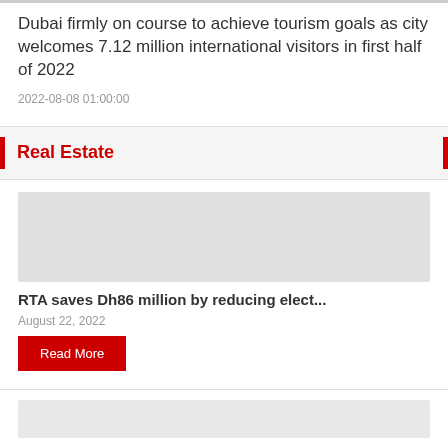Dubai firmly on course to achieve tourism goals as city welcomes 7.12 million international visitors in first half of 2022
2022-08-08 01:00:00
Real Estate
[Figure (photo): Gray placeholder image for Real Estate article]
RTA saves Dh86 million by reducing elect...
August 22, 2022
Read More
[Figure (photo): Gray placeholder image for second article]